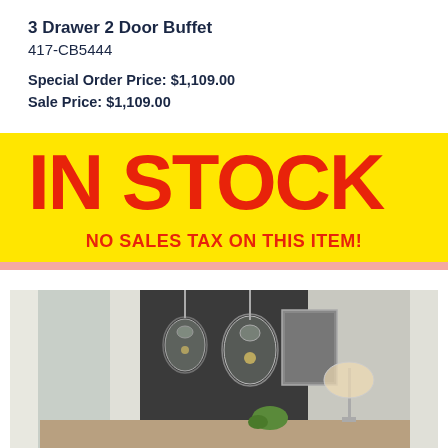3 Drawer 2 Door Buffet
417-CB5444
Special Order Price: $1,109.00
Sale Price: $1,109.00
IN STOCK
NO SALES TAX ON THIS ITEM!
[Figure (photo): Product photo of a dining room buffet area with pendant lights hanging over a dark wall, decorative items on a sideboard, and a lamp]